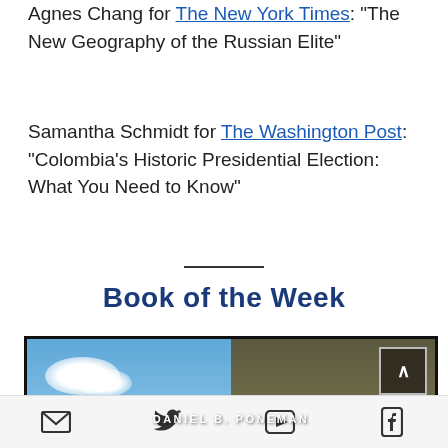Agnes Chang for The New York Times: "The New Geography of the Russian Elite"
Samantha Schmidt for The Washington Post: "Colombia's Historic Presidential Election: What You Need to Know"
Book of the Week
[Figure (photo): Book cover image showing a split scene: left half is a blue sky with white clouds, right half is an olive/dark earth tone with the author name DANIEL B. PONEMAN centered across both halves. A scroll-to-top arrow button appears in the upper right corner of the image.]